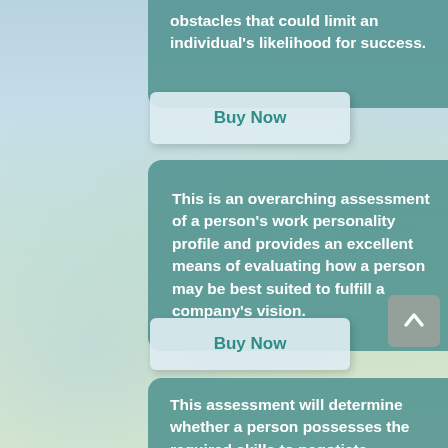obstacles that could limit an individual's likelihood for success.
Buy Now
This is an overarching assessment of a person's work personality profile and provides an excellent means of evaluating how a person may be best suited to fulfill a company's vision.
Buy Now
This assessment will determine whether a person possesses the required skills to negotiate effectively. NAP will assess whether a person has a knack for deal-making in the business world.